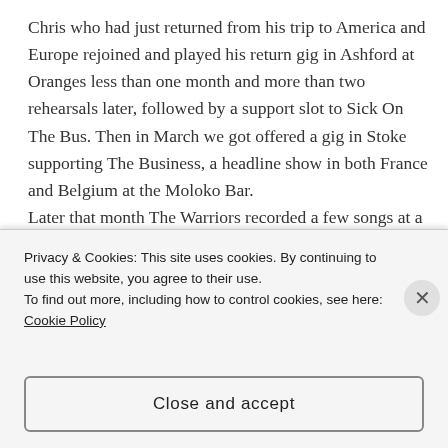Chris who had just returned from his trip to America and Europe rejoined and played his return gig in Ashford at Oranges less than one month and more than two rehearsals later, followed by a support slot to Sick On The Bus. Then in March we got offered a gig in Stoke supporting The Business, a headline show in both France and Belgium at the Moloko Bar. Later that month The Warriors recorded a few songs at a small studio in Dargate as a demo. One year on and April and May are busy months, April culminating in Saxbys 50th Birthday bash in Sheerness
Privacy & Cookies: This site uses cookies. By continuing to use this website, you agree to their use. To find out more, including how to control cookies, see here: Cookie Policy
Close and accept